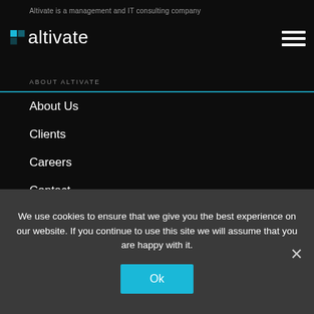Altivate is a management and IT consulting company
[Figure (logo): Altivate logo with blue square icon and white text 'altivate']
ABOUT ALTIVATE
About Us
Clients
Careers
Contact
TECHNOLOGIES
SAP
Amazon Web Services (AWS)
Microsoft
Google Cloud Platform (GCP)
We use cookies to ensure that we give you the best experience on our website. If you continue to use this site we will assume that you are happy with it.